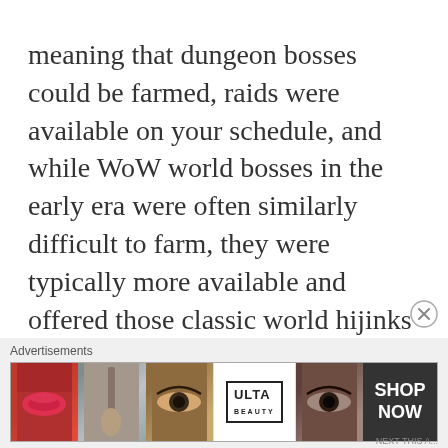meaning that dungeon bosses could be farmed, raids were available on your schedule, and while WoW world bosses in the early era were often similarly difficult to farm, they were typically more available and offered those classic world hijinks that could only be had via friction with other players. Still in place were the social mechanics – you had to spam chat for a group, and you could build a reputation, good or bad, among players with whom you shared a server. That knowledge would color a lot of
[Figure (infographic): Advertisement banner for ULTA beauty featuring close-up images of lips with red lipstick, a makeup brush, an eye with makeup, the ULTA logo, another eye with makeup, and a SHOP NOW call to action button.]